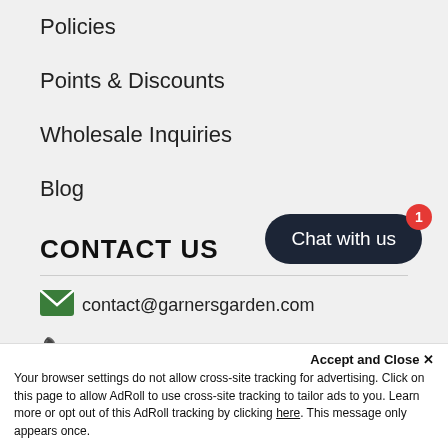Policies
Points & Discounts
Wholesale Inquiries
Blog
CONTACT US
contact@garnersgarden.com
301-539-3876
Mon-Fri 10am - 4pm EST
[Figure (other): Chat with us button with red badge showing 1]
Accept and Close ×
Your browser settings do not allow cross-site tracking for advertising. Click on this page to allow AdRoll to use cross-site tracking to tailor ads to you. Learn more or opt out of this AdRoll tracking by clicking here. This message only appears once.